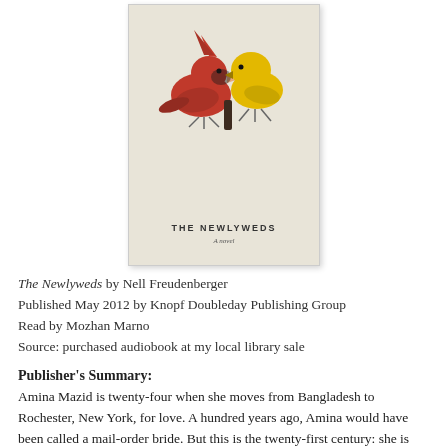[Figure (illustration): Book cover of 'The Newlyweds' showing a red cardinal bird and a yellow bird facing each other on a beige/cream background, with the title 'THE NEWLYWEDS' and subtitle 'A novel' printed below the birds.]
The Newlyweds by Nell Freudenberger
Published May 2012 by Knopf Doubleday Publishing Group
Read by Mozhan Marno
Source: purchased audiobook at my local library sale
Publisher's Summary:
Amina Mazid is twenty-four when she moves from Bangladesh to Rochester, New York, for love. A hundred years ago, Amina would have been called a mail-order bride. But this is the twenty-first century: she is wooed by—and woos—George Stillman online.